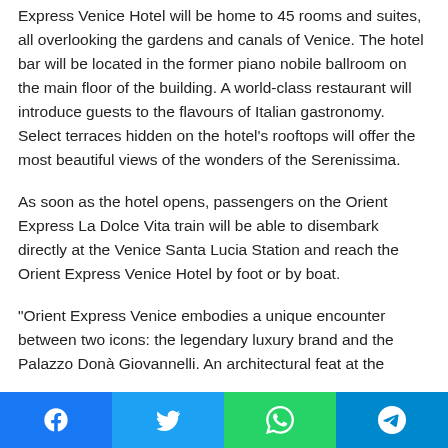Express Venice Hotel will be home to 45 rooms and suites, all overlooking the gardens and canals of Venice. The hotel bar will be located in the former piano nobile ballroom on the main floor of the building. A world-class restaurant will introduce guests to the flavours of Italian gastronomy. Select terraces hidden on the hotel's rooftops will offer the most beautiful views of the wonders of the Serenissima.
As soon as the hotel opens, passengers on the Orient Express La Dolce Vita train will be able to disembark directly at the Venice Santa Lucia Station and reach the Orient Express Venice Hotel by foot or by boat.
“Orient Express Venice embodies a unique encounter between two icons: the legendary luxury brand and the Palazzo Donà Giovannelli. An architectural feat at the
[Figure (infographic): Social sharing bar with four buttons: Facebook (blue), Twitter (light blue), WhatsApp (green), Telegram (dark cyan)]